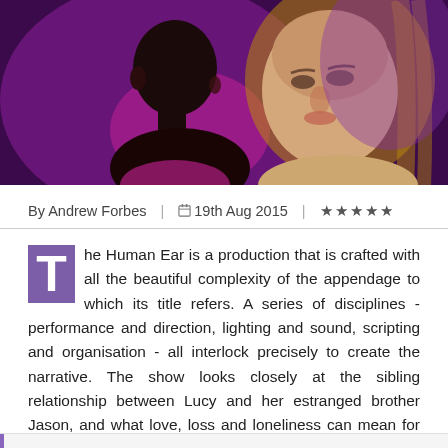[Figure (photo): Two people facing each other against a purple background — a man on the left in profile and a woman on the right looking forward]
By Andrew Forbes | 🗓 19th Aug 2015 | ★★★★★
The Human Ear is a production that is crafted with all the beautiful complexity of the appendage to which its title refers. A series of disciplines - performance and direction, lighting and sound, scripting and organisation - all interlock precisely to create the narrative. The show looks closely at the sibling relationship between Lucy and her estranged brother Jason, and what love, loss and loneliness can mean for our relationships with others.